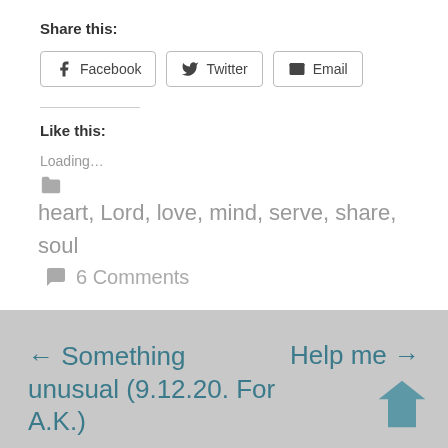Share this:
Facebook  Twitter  Email
Like this:
Loading...
heart, Lord, love, mind, serve, share, soul   6 Comments
← Something unusual (9.12.20. For A.K.)
Help me →